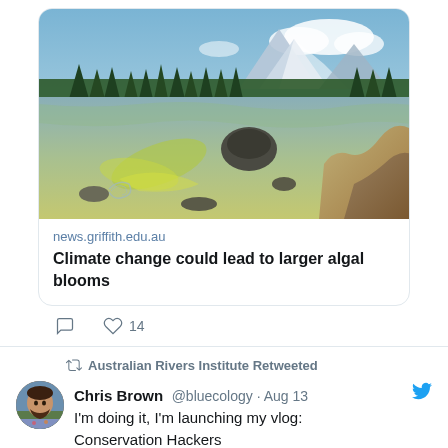[Figure (photo): Photograph of a lake scene with large boulders, clear shallow water showing algae on rocks, dense forest of pine trees, and mountains with snow in the background under a partly cloudy sky.]
news.griffith.edu.au
Climate change could lead to larger algal blooms
14 (likes)
Australian Rivers Institute Retweeted
[Figure (photo): Circular avatar photo of Chris Brown, a man with dark hair and beard wearing a floral shirt, outdoors.]
Chris Brown @bluecology · Aug 13
I'm doing it, I'm launching my vlog: Conservation Hackers
For the past 8 months I've been stacking up interviews with conservation scientists and